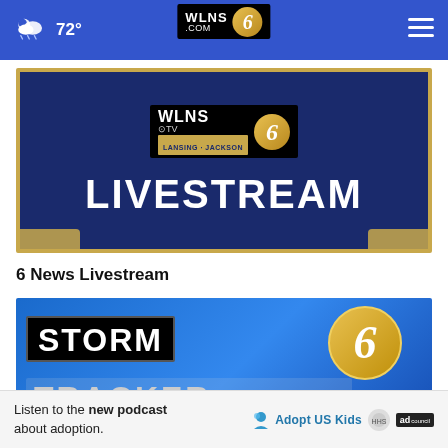72° WLNS 6 .COM — navigation header
[Figure (screenshot): WLNS 6 TV Lansing-Jackson Livestream thumbnail on dark navy background with gold border, showing WLNS logo and LIVESTREAM text in white]
6 News Livestream
[Figure (screenshot): Storm Tracker 6 logo on blue background with large number 6 gold logo and close (x) button overlay]
[Figure (other): Advertisement: Listen to the new podcast about adoption. AdoptUSKids logo and ad council logo.]